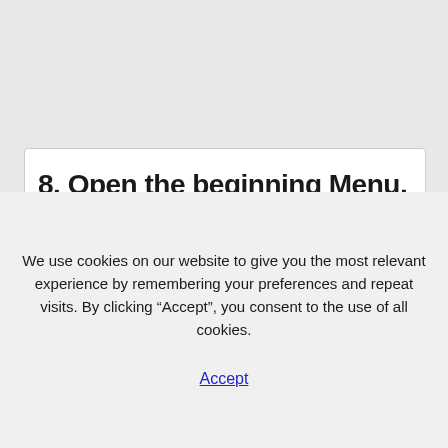8. Open the beginning Menu, kind cmd and
you're somebody that's trying to arrange their own server on Minecraft, then you will need to use a hosting supplier that will help you make that happen and convey your
We use cookies on our website to give you the most relevant experience by remembering your preferences and repeat visits. By clicking “Accept”, you consent to the use of all cookies.
Accept